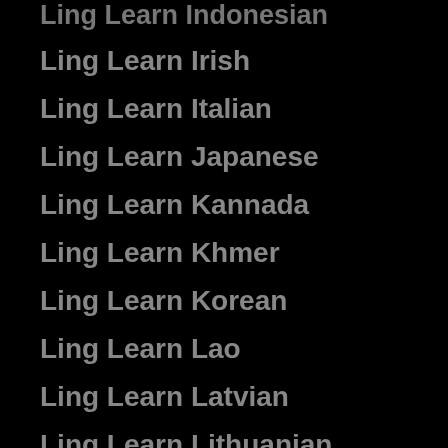Ling Learn Indonesian
Ling Learn Irish
Ling Learn Italian
Ling Learn Japanese
Ling Learn Kannada
Ling Learn Khmer
Ling Learn Korean
Ling Learn Lao
Ling Learn Latvian
Ling Learn Lithuanian
Ling Learn Malayalam